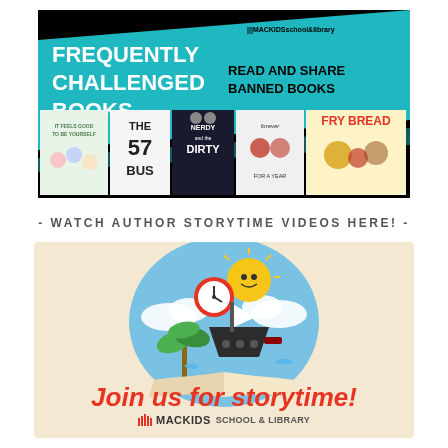[Figure (illustration): Frequently Challenged Books banner from MacKids School & Library showing teal and black design with text 'FREQUENTLY CHALLENGED BOOKS' and 'READ AND SHARE BANNED BOOKS', with 5 book covers below: It Feels Good to Be Yourself, The 57 Bus, Nerdy and Dirty, Forever For a Year, Fry Bread]
- WATCH AUTHOR STORYTIME VIDEOS HERE! -
[Figure (illustration): Storytime promotional illustration on beige/cream background showing a cartoon sun, clock, ship, palm trees, and open book with text 'Join us for storytime!' and MacKids School & Library logo]